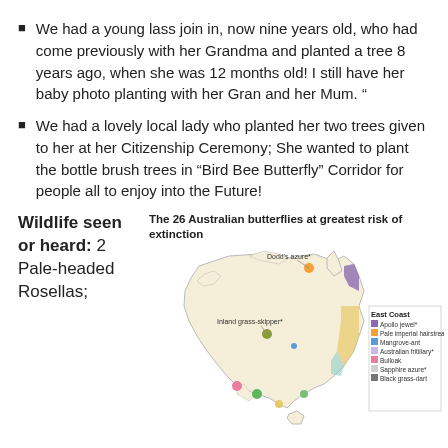We had a young lass join in, now nine years old, who had come previously with her Grandma and planted a tree 8 years ago, when she was 12 months old!  I still have her baby photo planting with her Gran and her Mum. “
We had a lovely local lady who planted her two trees given to her at her Citizenship Ceremony; She wanted to plant the bottle brush trees in “Bird Bee Butterfly” Corridor for people all to enjoy into the Future!
Wildlife seen or heard: 2 Pale-headed Rosellas;
[Figure (map): Map of Australia showing locations of 26 Australian butterflies at greatest risk of extinction. Labels include Dodd's azure, Inland grass-skipper. Legend shows East Coast species: Apollo jewel (purple), Pale imperial hairstreak (orange), Mangrove-ant (blue), Australian fritillary (light purple), Bulloak (pink), Sapphire azure (light grey), Black grass-dart (dark grey).]